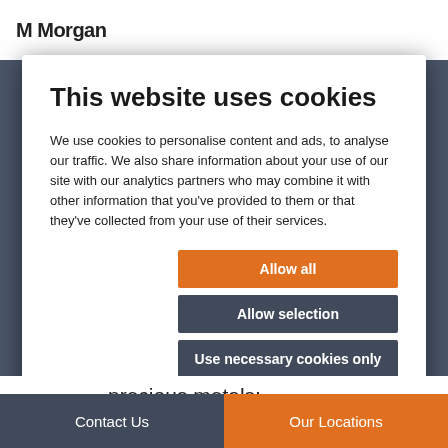MMorgan
This website uses cookies
We use cookies to personalise content and ads, to analyse our traffic. We also share information about your use of our site with our analytics partners who may combine it with other information that you've provided to them or that they've collected from your use of their services.
Allow all
Allow selection
Use necessary cookies only
Necessary  Preferences  Statistics  Marketing  Show details
precious metals;
Contact Us  Our Locations